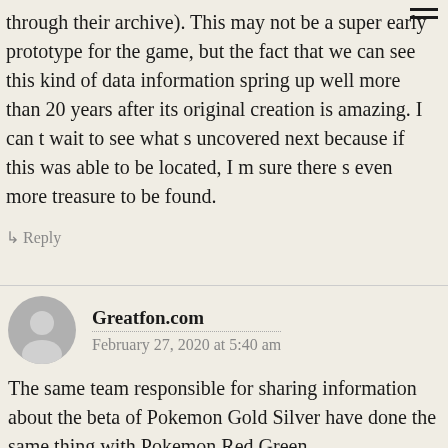through their archive). This may not be a super early prototype for the game, but the fact that we can see this kind of data information spring up well more than 20 years after its original creation is amazing. I can t wait to see what s uncovered next because if this was able to be located, I m sure there s even more treasure to be found.
↳ Reply
Greatfon.com
February 27, 2020 at 5:40 am
The same team responsible for sharing information about the beta of Pokemon Gold Silver have done the same thing with Pokemon Red Green.